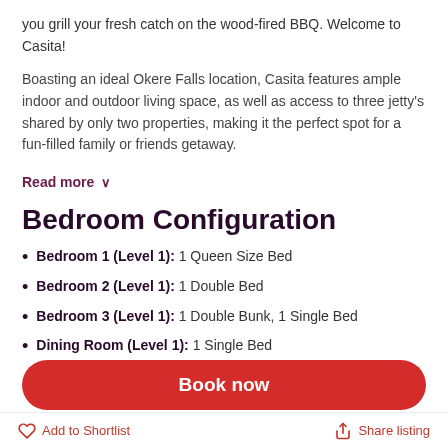you grill your fresh catch on the wood-fired BBQ. Welcome to Casita!
Boasting an ideal Okere Falls location, Casita features ample indoor and outdoor living space, as well as access to three jetty's shared by only two properties, making it the perfect spot for a fun-filled family or friends getaway.
Read more ∨
Bedroom Configuration
Bedroom 1 (Level 1): 1 Queen Size Bed
Bedroom 2 (Level 1): 1 Double Bed
Bedroom 3 (Level 1): 1 Double Bunk, 1 Single Bed
Dining Room (Level 1): 1 Single Bed
Book now
Bathroom 1 (Level 0): 1 Basin, 1 Shower, 1 Toilet
Add to Shortlist
Share listing